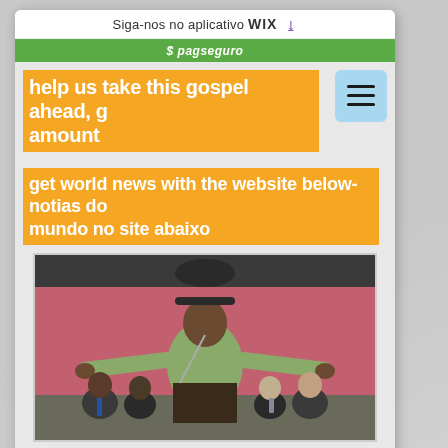Siga-nos no aplicativo WiX ⬇
pagseguro
help us take this gospel ahead, g amount
get world news with the website below-notias do mundo no site abaixo
[Figure (photo): A preacher in a green suit standing at a pulpit with arms outstretched, in front of a pink wall, with several people seated behind him in formal attire.]
0:00 / 0:00